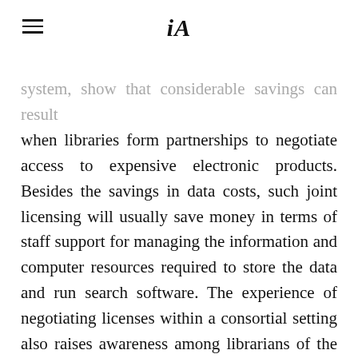iA
system, show that considerable savings can result when libraries form partnerships to negotiate access to expensive electronic products. Besides the savings in data costs, such joint licensing will usually save money in terms of staff support for managing the information and computer resources required to store the data and run search software. The experience of negotiating licenses within a consortial setting also raises awareness among librarians of the importance of paying careful attention to the terms and conditions of licenses. The combined buying power of the consortium has a better chance than do individual libraries of